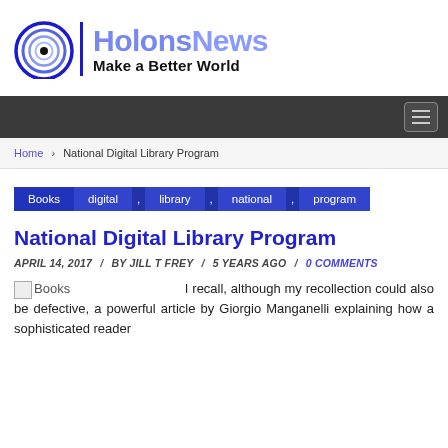[Figure (logo): HolonsNews logo with spiral icon and tagline 'Make a Better World']
Navigation bar with hamburger menu
Home > National Digital Library Program
Books , digital , library , national , program
National Digital Library Program
APRIL 14, 2017 / BY JILL T FREY / 5 YEARS AGO / 0 COMMENTS
I recall, although my recollection could also be defective, a powerful article by Giorgio Manganelli explaining how a sophisticated reader